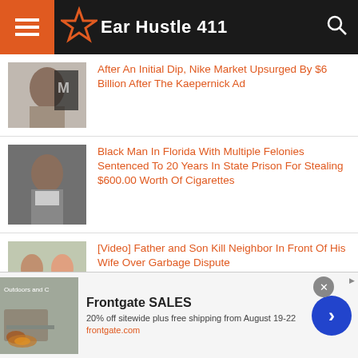Ear Hustle 411
After An Initial Dip, Nike Market Upsurged By $6 Billion After The Kaepernick Ad
Black Man In Florida With Multiple Felonies Sentenced To 20 Years In State Prison For Stealing $600.00 Worth Of Cigarettes
[Video] Father and Son Kill Neighbor In Front Of His Wife Over Garbage Dispute
Frontgate SALES
20% off sitewide plus free shipping from August 19-22
frontgate.com